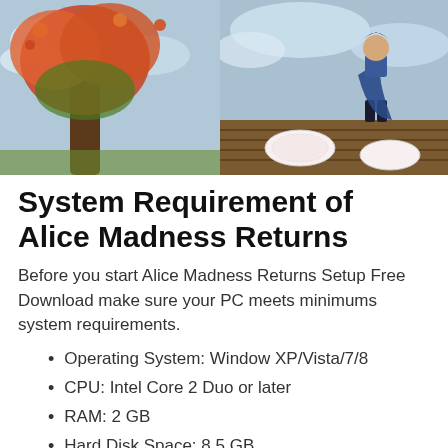[Figure (photo): Two game screenshots side by side: left shows a colorful fantasy tree/plant scene, right shows a character standing on a wooden deck with playing cards]
System Requirement of Alice Madness Returns
Before you start Alice Madness Returns Setup Free Download make sure your PC meets minimums system requirements.
Operating System: Window XP/Vista/7/8
CPU: Intel Core 2 Duo or later
RAM: 2 GB
Hard Disk Space: 8.5 GB
Setup Size: 7.4 GB